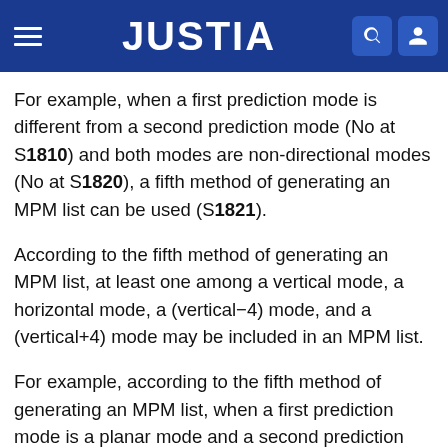JUSTIA
For example, when a first prediction mode is different from a second prediction mode (No at S1810) and both modes are non-directional modes (No at S1820), a fifth method of generating an MPM list can be used (S1821).
According to the fifth method of generating an MPM list, at least one among a vertical mode, a horizontal mode, a (vertical−4) mode, and a (vertical+4) mode may be included in an MPM list.
For example, according to the fifth method of generating an MPM list, when a first prediction mode is a planar mode and a second prediction mode is a DC mode, an MPM list may sequentially include at least one among a vertical mode, a horizontal mode, a (vertical−4) mode, and a (vertical+4) mode. Herein, an order of including an MPM candidate mode in an MPM list is not limited to the